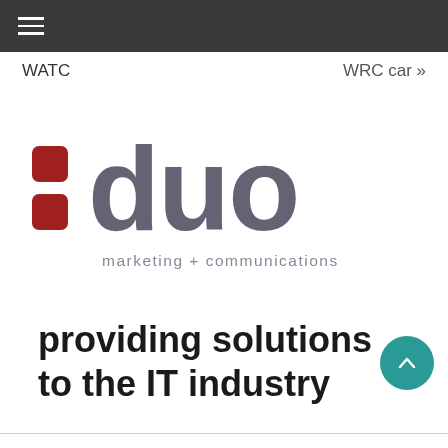WATC
WRC car »
[Figure (logo): :duo marketing + communications logo — two red rounded squares on left as colon, 'duo' in large grey rounded letterforms, 'marketing + communications' in smaller grey text below]
providing solutions to the IT industry